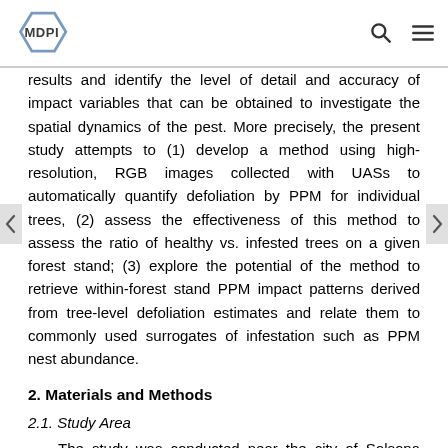MDPI
results and identify the level of detail and accuracy of impact variables that can be obtained to investigate the spatial dynamics of the pest. More precisely, the present study attempts to (1) develop a method using high-resolution, RGB images collected with UASs to automatically quantify defoliation by PPM for individual trees, (2) assess the effectiveness of this method to assess the ratio of healthy vs. infested trees on a given forest stand; (3) explore the potential of the method to retrieve within-forest stand PPM impact patterns derived from tree-level defoliation estimates and relate them to commonly used surrogates of infestation such as PPM nest abundance.
2. Materials and Methods
2.1. Study Area
The study was conducted near the city of Solsona (Lleida, Catalonia, NE Spain, Figure 1). The area has a Mediterranean climate with hot dry summers and mild wet winters. The vegetation is mostly comprised of forest and shrubland